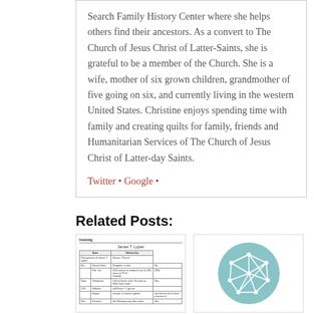Search Family History Center where she helps others find their ancestors. As a convert to The Church of Jesus Christ of Latter-Saints, she is grateful to be a member of the Church. She is a wife, mother of six grown children, grandmother of five going on six, and currently living in the western United States. Christine enjoys spending time with family and creating quilts for family, friends and Humanitarian Services of The Church of Jesus Christ of Latter-day Saints.
Twitter • Google •
Related Posts:
[Figure (other): Thumbnail of a handwritten genealogy document form for James T. Lypier]
[Figure (other): Thumbnail showing a teal circular icon with a network/graph diagram of connected nodes]